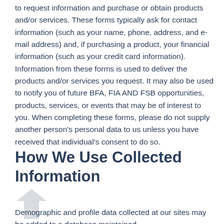to request information and purchase or obtain products and/or services. These forms typically ask for contact information (such as your name, phone, address, and e-mail address) and, if purchasing a product, your financial information (such as your credit card information). Information from these forms is used to deliver the products and/or services you request. It may also be used to notify you of future BFA, FIA AND FSB opportunities, products, services, or events that may be of interest to you. When completing these forms, please do not supply another person's personal data to us unless you have received that individual's consent to do so.
How We Use Collected Information
Demographic and profile data collected at our sites may be added to a database maintained